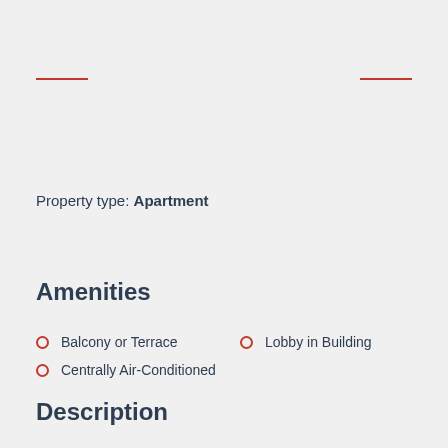Property type: Apartment
Amenities
Balcony or Terrace
Centrally Air-Conditioned
Lobby in Building
Description